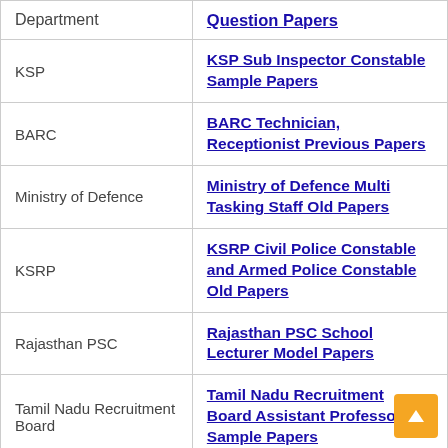| Department | Question Papers |
| --- | --- |
| KSP | KSP Sub Inspector Constable Sample Papers |
| BARC | BARC Technician, Receptionist Previous Papers |
| Ministry of Defence | Ministry of Defence Multi Tasking Staff Old Papers |
| KSRP | KSRP Civil Police Constable and Armed Police Constable Old Papers |
| Rajasthan PSC | Rajasthan PSC School Lecturer Model Papers |
| Tamil Nadu Recruitment Board | Tamil Nadu Recruitment Board Assistant Professor Sample Papers |